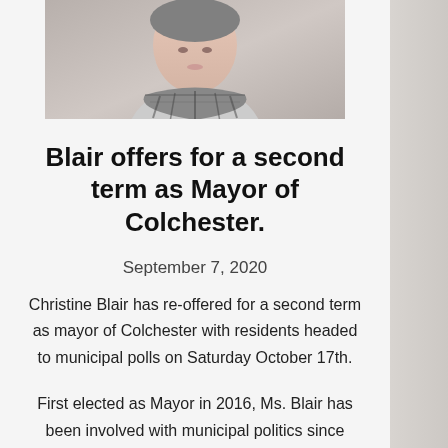[Figure (photo): Portrait photo of a woman (Christine Blair) wearing a patterned scarf, cropped to show face and upper body, black and white/muted tones]
Blair offers for a second term as Mayor of Colchester.
September 7, 2020
Christine Blair has re-offered for a second term as mayor of Colchester with residents headed to municipal polls on Saturday October 17th.
First elected as Mayor in 2016, Ms. Blair has been involved with municipal politics since